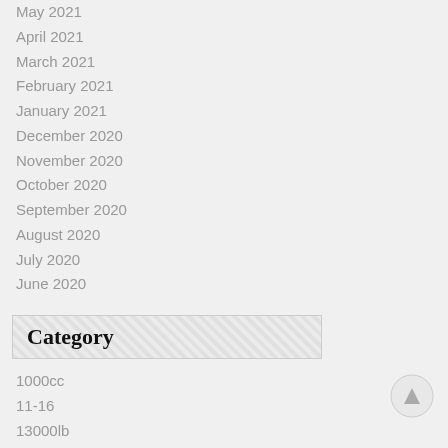May 2021
April 2021
March 2021
February 2021
January 2021
December 2020
November 2020
October 2020
September 2020
August 2020
July 2020
June 2020
Category
1000cc
11-16
13000lb
14570-6
15500ibs
16x6.8